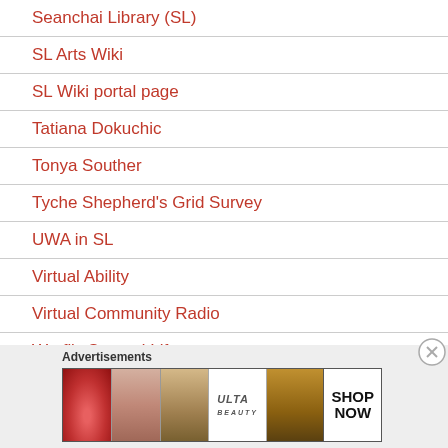Seanchai Library (SL)
SL Arts Wiki
SL Wiki portal page
Tatiana Dokuchic
Tonya Souther
Tyche Shepherd's Grid Survey
UWA in SL
Virtual Ability
Virtual Community Radio
Wurfi's Second Life
[Figure (screenshot): Advertisement banner for ULTA beauty with images of lips, makeup brush, eye, ULTA logo, eyes, and SHOP NOW text]